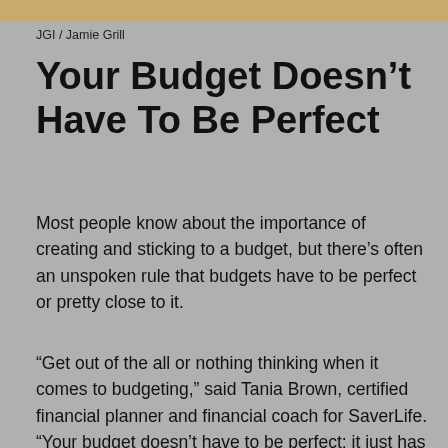[Figure (photo): Cropped top of a photo, showing warm orange/yellow tones, partial food or lifestyle image]
JGI / Jamie Grill
Your Budget Doesn’t Have To Be Perfect
Most people know about the importance of creating and sticking to a budget, but there’s often an unspoken rule that budgets have to be perfect or pretty close to it.
“Get out of the all or nothing thinking when it comes to budgeting,” said Tania Brown, certified financial planner and financial coach for SaverLife. “Your budget doesn’t have to be perfect; it just has to be detailed enough to help you feel in control of your money. There is no right or wrong way to budget, only the way you’ll